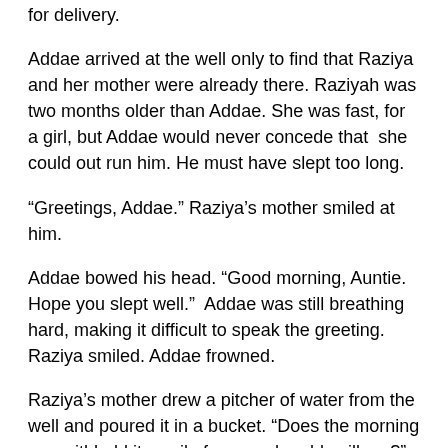for delivery.
Addae arrived at the well only to find that Raziya and her mother were already there. Raziyah was two months older than Addae. She was fast, for a girl, but Addae would never concede that  she could out run him. He must have slept too long.
“Greetings, Addae.” Raziya’s mother smiled at him.
Addae bowed his head. “Good morning, Auntie. Hope you slept well.”  Addae was still breathing hard, making it difficult to speak the greeting. Raziya smiled. Addae frowned.
Raziya’s mother drew a pitcher of water from the well and poured it in a bucket. “Does the morning sun withhold its smile from our humble village?”  Raziya held the bucket for her mother.